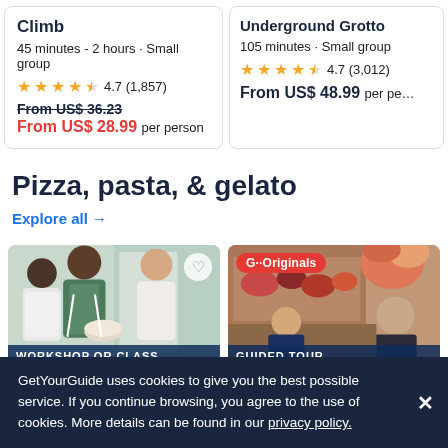Climb
45 minutes - 2 hours • Small group
★★★★½ 4.7 (1,857)
From US$ 36.23 (strikethrough) From US$ 28.99 per person
Underground Grotto
105 minutes • Small group
★★★★½ 4.7 (3,012)
From US$ 48.99 per person
Pizza, pasta, & gelato
Explore all →
[Figure (photo): Photo of cooking class participants in aprons mixing ingredients, with a heart favorite button overlay]
WORKSHOP OR CLASS
[Figure (photo): Photo of market/food tour with G Originals badge, showing meat/food display and a woman]
GUIDED TOUR
GetYourGuide uses cookies to give you the best possible service. If you continue browsing, you agree to the use of cookies. More details can be found in our privacy policy.